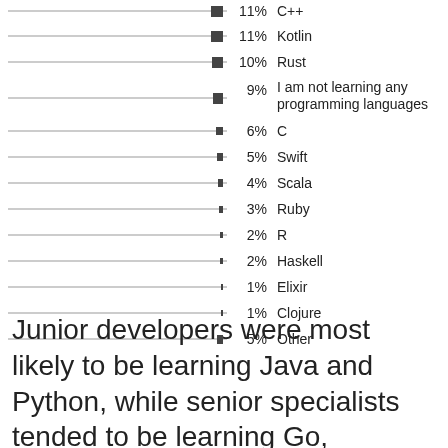[Figure (bar-chart): Programming languages being learned]
Junior developers were most likely to be learning Java and Python, while senior specialists tended to be learning Go, TypeScript, or Rust.